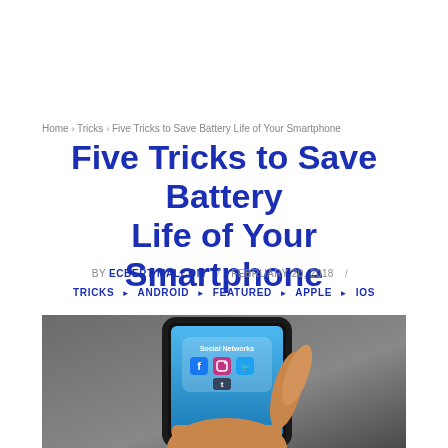Home › Tricks › Five Tricks to Save Battery Life of Your Smartphone
Five Tricks to Save Battery Life of Your Smartphone
BY ECBERT MALCOM / FEBRUARY 20, 2018 /
TRICKS ▸ ANDROID ▸ FEATURED ▸ APPLE ▸ IOS
[Figure (photo): A hand holding a smartphone displaying a 'Social Networks' folder with app icons including Facebook, Instagram, Twitter, and Tumblr on the screen.]